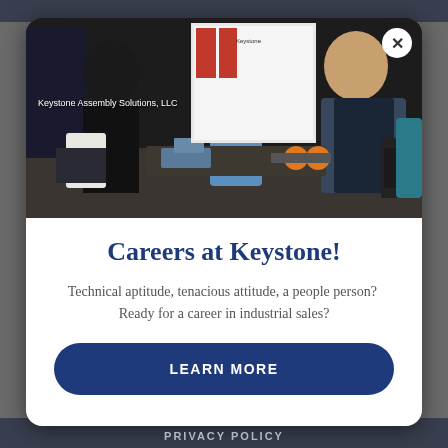[Figure (photo): Trade show or industry expo booth scene. A person with dark hair wearing a black outfit with a white tote bag (labeled 'NRC') is speaking with two men at a table covered with industrial products and tools. One man wears a blue jacket with arms crossed, another wears a blue/black vest and is leaning over the table. A backdrop reads 'Keystone Assembly Solutions, LLC'. Banners and display boards visible in background.]
Careers at Keystone!
Technical aptitude, tenacious attitude, a people person?  Ready for a career in industrial sales?
LEARN MORE
PRIVACY POLICY